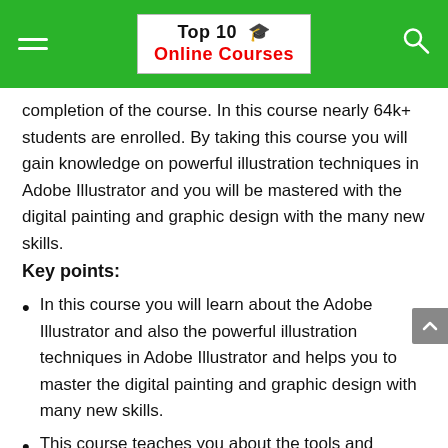Top 10 🎓 Online Courses
completion of the course. In this course nearly 64k+ students are enrolled. By taking this course you will gain knowledge on powerful illustration techniques in Adobe Illustrator and you will be mastered with the digital painting and graphic design with the many new skills.
Key points:
In this course you will learn about the Adobe Illustrator and also the powerful illustration techniques in Adobe Illustrator and helps you to master the digital painting and graphic design with many new skills.
This course teaches you about the tools and